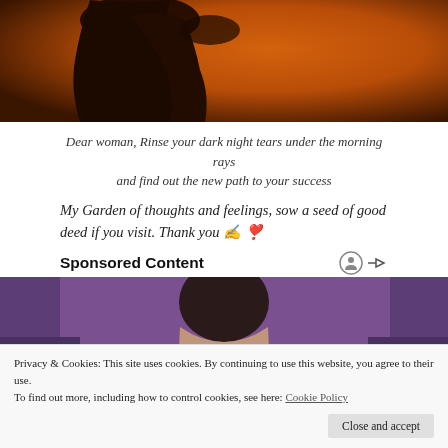[Figure (photo): Silhouette of a woman against an orange sunset background]
Dear woman, Rinse your dark night tears under the morning rays and find out the new path to your success
My Garden of thoughts and feelings, sow a seed of good deed if you visit. Thank you ✍️ ❣
Sponsored Content
[Figure (photo): Person with curly hair against purple background, partially visible]
Privacy & Cookies: This site uses cookies. By continuing to use this website, you agree to their use. To find out more, including how to control cookies, see here: Cookie Policy